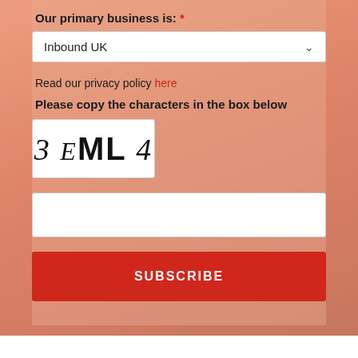Our primary business is: *
Inbound UK
Read our privacy policy here
Please copy the characters in the box below
[Figure (other): CAPTCHA image showing characters: 3 E ML 4 in mixed serif/sans-serif italic fonts on white background]
SUBSCRIBE